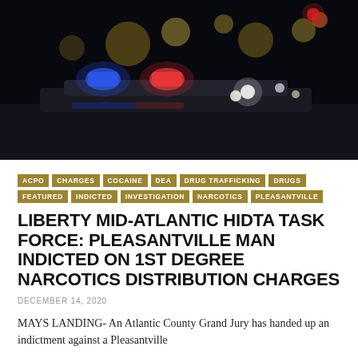[Figure (photo): Nighttime photo of police car with blue and red lights on the roof, street lights visible in dark background]
ACPO | CHARGES | COCAINE | DEA | DRUG TRAFFICKING | DRUGS | FEATURED | INDICTED | INVESTIGATION | NARCOTICS | PLEASANTVILLE
LIBERTY MID-ATLANTIC HIDTA TASK FORCE: PLEASANTVILLE MAN INDICTED ON 1ST DEGREE NARCOTICS DISTRIBUTION CHARGES
DECEMBER 14, 2020
MAYS LANDING- An Atlantic County Grand Jury has handed up an indictment against a Pleasantville